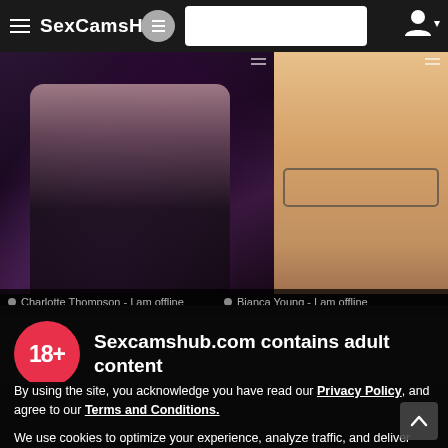SexCamsHub
[Figure (photo): Two webcam model thumbnails side by side: left shows a dark-haired woman in black lingerie lying down against a dark background; right shows a close-up of a blonde woman with glasses against a light background.]
Charlotte Thompson - I am offline
Bianca Young - I am offline
Sexcamshub.com contains adult content
By using the site, you acknowledge you have read our Privacy Policy, and agree to our Terms and Conditions.
We use cookies to optimize your experience, analyze traffic, and deliver more personalized service. To learn more, please see our Privacy Policy.